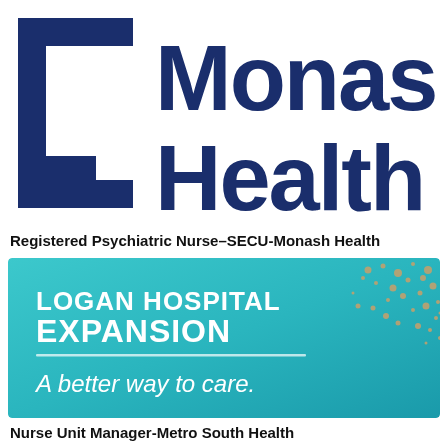[Figure (logo): Monash Health logo — stylized square bracket icon in dark blue/navy on the left, and large bold text 'Monash Health' in dark navy on the right, partially cropped at the right edge]
Registered Psychiatric Nurse–SECU-Monash Health
[Figure (illustration): Logan Hospital Expansion promotional banner with teal/cyan gradient background, decorative gold dot-cluster pattern on the right, white bold text reading 'LOGAN HOSPITAL EXPANSION' and italic text 'A better way to care.' with a white horizontal divider line]
Nurse Unit Manager-Metro South Health